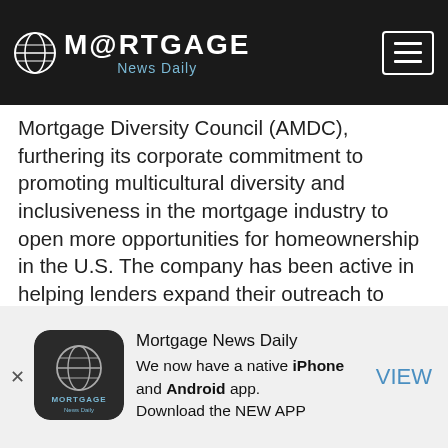MORTGAGE News Daily
Mortgage Diversity Council (AMDC), furthering its corporate commitment to promoting multicultural diversity and inclusiveness in the mortgage industry to open more opportunities for homeownership in the U.S. The company has been active in helping lenders expand their outreach to many first-time homebuyers, including multicultural segments, through its MI University via webinars such as "Building Relationships in a Highly Digital Multicultural Environment," scheduled for Thursday, July 20th.
[Figure (logo): Mortgage News Daily app icon - dark globe logo]
Mortgage News Daily
We now have a native iPhone and Android app. Download the NEW APP
VIEW